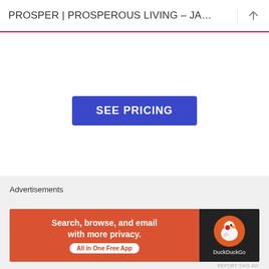PROSPER | PROSPEROUS LIVING – JA…
[Figure (other): Blue 'SEE PRICING' button centered on white background]
REPORT THIS AD
FOLLOW BLOG
Advertisements
[Figure (infographic): DuckDuckGo advertisement banner: 'Search, browse, and email with more privacy. All in One Free App' on orange background with DuckDuckGo logo on dark background]
REPORT THIS AD